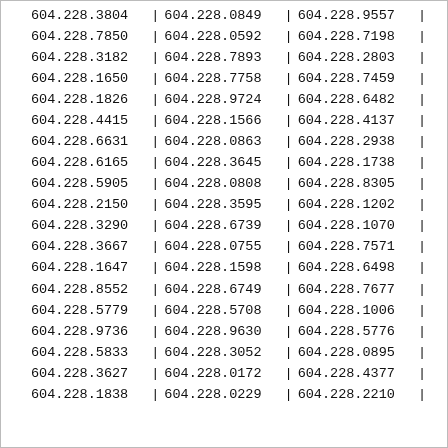| col1 | col2 | col3 |
| --- | --- | --- |
| 604.228.3804 | 604.228.0849 | 604.228.9557 |
| 604.228.7850 | 604.228.0592 | 604.228.7198 |
| 604.228.3182 | 604.228.7893 | 604.228.2803 |
| 604.228.1650 | 604.228.7758 | 604.228.7459 |
| 604.228.1826 | 604.228.9724 | 604.228.6482 |
| 604.228.4415 | 604.228.1566 | 604.228.4137 |
| 604.228.6631 | 604.228.0863 | 604.228.2938 |
| 604.228.6165 | 604.228.3645 | 604.228.1738 |
| 604.228.5905 | 604.228.0808 | 604.228.8305 |
| 604.228.2150 | 604.228.3595 | 604.228.1202 |
| 604.228.3290 | 604.228.6739 | 604.228.1070 |
| 604.228.3667 | 604.228.0755 | 604.228.7571 |
| 604.228.1647 | 604.228.1598 | 604.228.6498 |
| 604.228.8552 | 604.228.6749 | 604.228.7677 |
| 604.228.5779 | 604.228.5708 | 604.228.1006 |
| 604.228.9736 | 604.228.9630 | 604.228.5776 |
| 604.228.5833 | 604.228.3052 | 604.228.0895 |
| 604.228.3627 | 604.228.0172 | 604.228.4377 |
| 604.228.1838 | 604.228.0229 | 604.228.2210 |